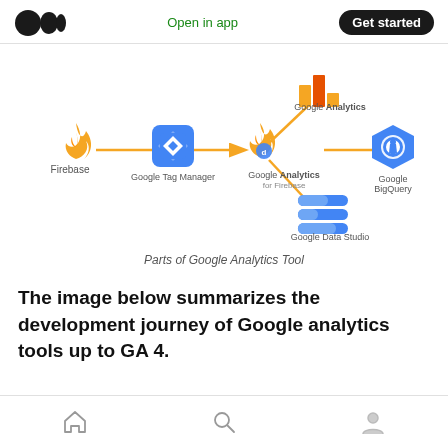Open in app | Get started
[Figure (infographic): Diagram showing parts of the Google Analytics Tool ecosystem: Firebase and Google Tag Manager on the left connected by arrows, with Google Analytics, Google Analytics for Firebase (connected to Google BigQuery), and Google Data Studio on the right, all interconnected by yellow/gold arrows.]
Parts of Google Analytics Tool
The image below summarizes the development journey of Google analytics tools up to GA 4.
Home | Search | Profile